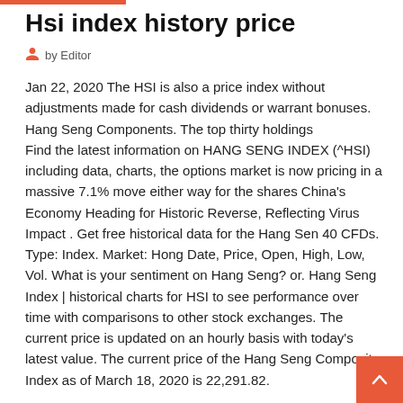Hsi index history price
by Editor
Jan 22, 2020 The HSI is also a price index without adjustments made for cash dividends or warrant bonuses. Hang Seng Components. The top thirty holdings Find the latest information on HANG SENG INDEX (^HSI) including data, charts, the options market is now pricing in a massive 7.1% move either way for the shares China's Economy Heading for Historic Reverse, Reflecting Virus Impact . Get free historical data for the Hang Sen 40 CFDs. Type: Index. Market: Hong Date, Price, Open, High, Low, Vol. What is your sentiment on Hang Seng? or. Hang Seng Index | historical charts for HSI to see performance over time with comparisons to other stock exchanges. The current price is updated on an hourly basis with today's latest value. The current price of the Hang Seng Composite Index as of March 18, 2020 is 22,291.82.